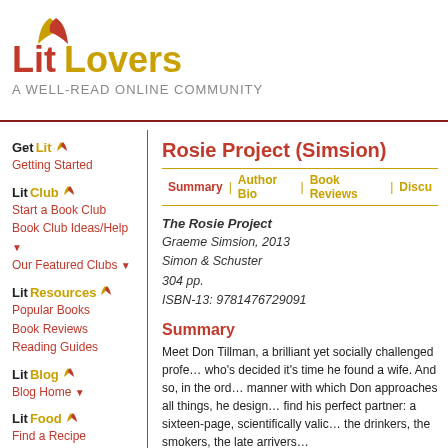[Figure (logo): LitLovers logo with stylized red and gold book pages icon and text 'Lit Lovers']
A WELL-READ ONLINE COMMUNITY
GetLit
Getting Started
LitClub
Start a Book Club
Book Club Ideas/Help ▼
Our Featured Clubs ▼
LitResources
Popular Books
Book Reviews
Reading Guides
LitBlog
Blog Home ▼
LitFood
Find a Recipe
Rosie Project (Simsion)
Summary | Author Bio | Book Reviews | Discu…
The Rosie Project
Graeme Simsion, 2013
Simon & Schuster
304 pp.
ISBN-13: 9781476729091
Summary
Meet Don Tillman, a brilliant yet socially challenged profe… who's decided it's time he found a wife. And so, in the ord… manner with which Don approaches all things, he design… find his perfect partner: a sixteen-page, scientifically valic… the drinkers, the smokers, the late arrivers…